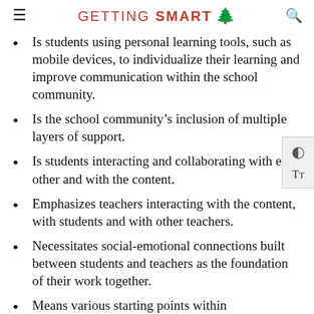GETTING SMART
Is students using personal learning tools, such as mobile devices, to individualize their learning and improve communication within the school community.
Is the school community's inclusion of multiple layers of support.
Is students interacting and collaborating with each other and with the content.
Emphasizes teachers interacting with the content, with students and with other teachers.
Necessitates social-emotional connections built between students and teachers as the foundation of their work together.
Means various starting points within